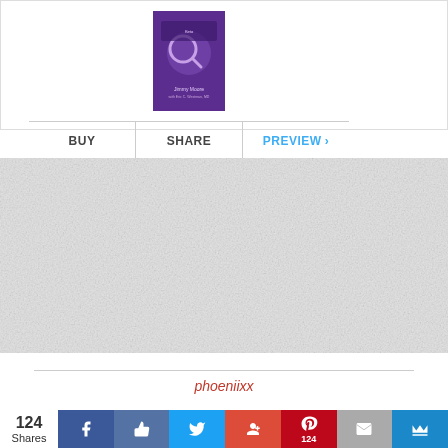[Figure (photo): Book cover thumbnail showing a purple book with a magnifying glass, author name Jimmy Moore with Eric C. Westman MD]
BUY   |   SHARE   |   PREVIEW >
[Figure (photo): Textured light grey background panel]
phoeniixx
124 Shares
[Figure (infographic): Social sharing bar with Facebook, thumbs-up, Twitter, Google+, Pinterest (124), Mail, and crown icons]